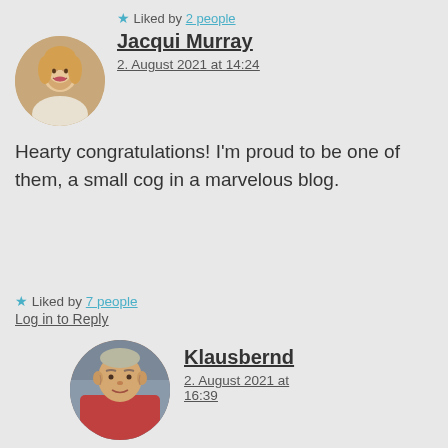★ Liked by 2 people
Jacqui Murray
2. August 2021 at 14:24
[Figure (photo): Circular avatar photo of Jacqui Murray, a woman with blonde hair smiling]
Hearty congratulations! I'm proud to be one of them, a small cog in a marvelous blog.
★ Liked by 7 people
Log in to Reply
[Figure (photo): Circular avatar photo of Klausbernd, an older man]
Klausbernd
2. August 2021 at 16:39
Dear Jacqui, we feel very honoured that you are following our blog.